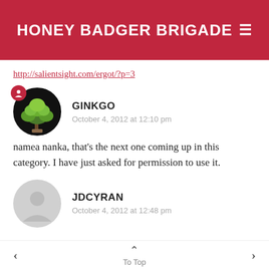HONEY BADGER BRIGADE
http://salientsight.com/ergot/?p=3
GINKGO
October 4, 2012 at 12:10 pm
namea nanka, that’s the next one coming up in this category. I have just asked for permission to use it.
JDCYRAN
October 4, 2012 at 12:48 pm
< To Top >